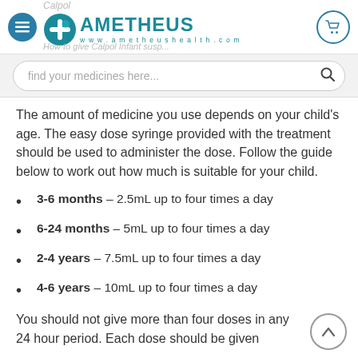AMETHEUS www.ametheushealth.com
The amount of medicine you use depends on your child's age. The easy dose syringe provided with the treatment should be used to administer the dose. Follow the guide below to work out how much is suitable for your child.
3-6 months – 2.5mL up to four times a day
6-24 months – 5mL up to four times a day
2-4 years – 7.5mL up to four times a day
4-6 years – 10mL up to four times a day
You should not give more than four doses in any 24 hour period. Each dose should be given